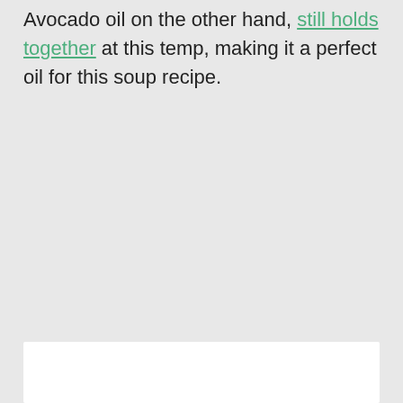Avocado oil on the other hand, still holds together at this temp, making it a perfect oil for this soup recipe.
[Figure (photo): White rectangular image area at the bottom of the page, partially visible]